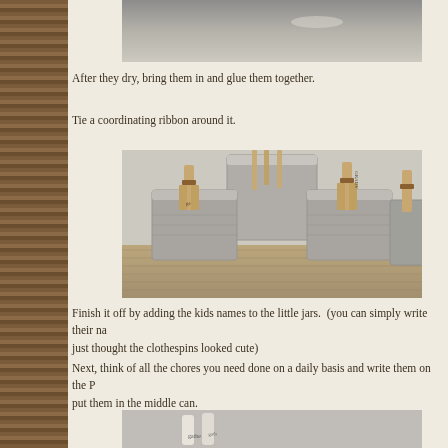[Figure (photo): Top portion of a photo showing metallic cans/containers against a grey surface]
After they dry, bring them in and glue them together.
Tie a coordinating ribbon around it.
[Figure (photo): Photo of multiple tin cans with wooden clothespins attached, sitting on burlap fabric. The clothespins have names written on them including 'GRADY'. The cans contain wooden sticks.]
Finish it off by adding the kids names to the little jars.  (you can simply write their names on them, I just thought the clothespins looked cute)
Next, think of all the chores you need done on a daily basis and write them on the Popsicle sticks and put them in the middle can.
[Figure (photo): Bottom photo showing Popsicle sticks with writing on them, including the word 'gathe', on a textured grey surface]